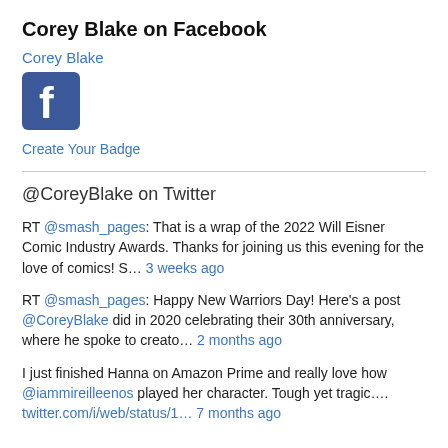Corey Blake on Facebook
Corey Blake
[Figure (logo): Facebook logo icon — blue square with white 'f']
Create Your Badge
@CoreyBlake on Twitter
RT @smash_pages: That is a wrap of the 2022 Will Eisner Comic Industry Awards. Thanks for joining us this evening for the love of comics! S… 3 weeks ago
RT @smash_pages: Happy New Warriors Day! Here's a post @CoreyBlake did in 2020 celebrating their 30th anniversary, where he spoke to creato… 2 months ago
I just finished Hanna on Amazon Prime and really love how @iammireilleenos played her character. Tough yet tragic…. twitter.com/i/web/status/1… 7 months ago